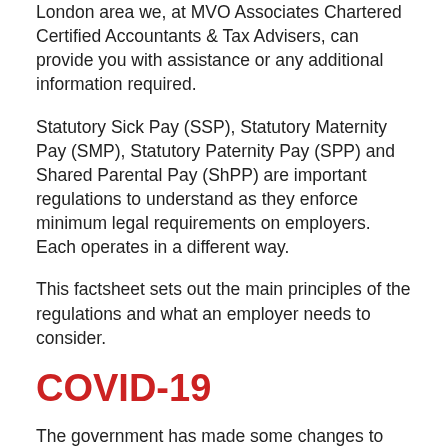London area we, at MVO Associates Chartered Certified Accountants & Tax Advisers, can provide you with assistance or any additional information required.
Statutory Sick Pay (SSP), Statutory Maternity Pay (SMP), Statutory Paternity Pay (SPP) and Shared Parental Pay (ShPP) are important regulations to understand as they enforce minimum legal requirements on employers. Each operates in a different way.
This factsheet sets out the main principles of the regulations and what an employer needs to consider.
COVID-19
The government has made some changes to SSP. SSP is payable from day 1, rather than day 4, of an employees'